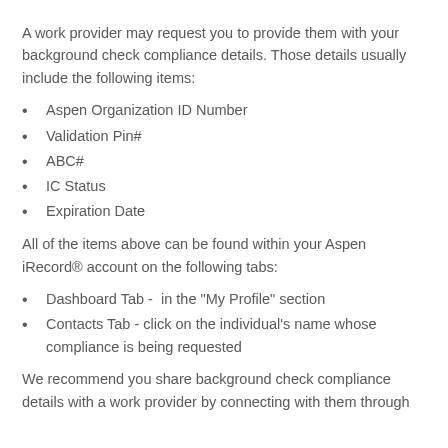A work provider may request you to provide them with your background check compliance details. Those details usually include the following items:
Aspen Organization ID Number
Validation Pin#
ABC#
IC Status
Expiration Date
All of the items above can be found within your Aspen iRecord® account on the following tabs:
Dashboard Tab -  in the "My Profile" section
Contacts Tab - click on the individual's name whose compliance is being requested
We recommend you share background check compliance details with a work provider by connecting with them through